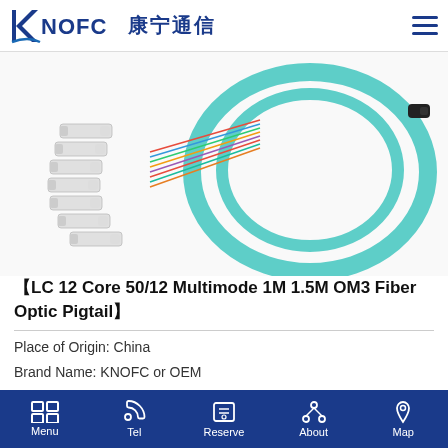KNOFC 康宁通信
[Figure (photo): Photo of LC 12 Core fiber optic pigtail cables with aqua/teal colored OM3 multimode fiber, showing multiple LC connectors fanned out on the left and a looped cable on the right]
【LC 12 Core 50/12 Multimode 1M 1.5M OM3 Fiber Optic Pigtail】
Place of Origin: China
Brand Name: KNOFC or OEM
Certification: CE/ISO9001
Menu  Tel  Reserve  About  Map